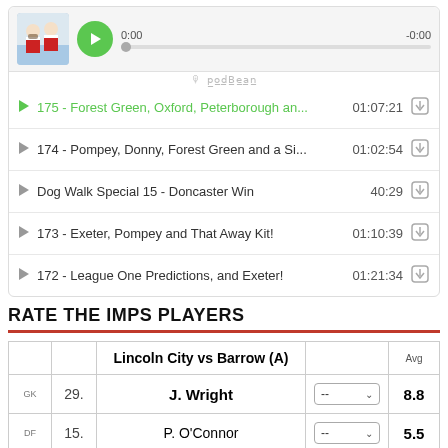[Figure (screenshot): Podcast player widget showing a play button with timestamp 0:00 / -0:00, and a list of episodes: 175 - Forest Green, Oxford, Peterborough an... (01:07:21), 174 - Pompey, Donny, Forest Green and a Si... (01:02:54), Dog Walk Special 15 - Doncaster Win (40:29), 173 - Exeter, Pompey and That Away Kit! (01:10:39), 172 - League One Predictions, and Exeter! (01:21:34). Podbean watermark visible.]
RATE THE IMPS PLAYERS
|  |  | Lincoln City vs Barrow (A) |  | Avg |
| --- | --- | --- | --- | --- |
| GK | 29. | J. Wright | -- | 8.8 |
| DF | 15. | P. O'Connor | -- | 5.5 |